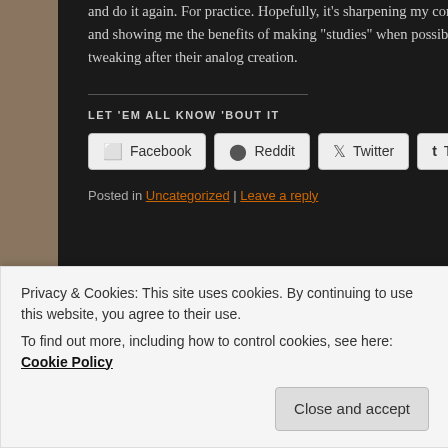and do it again.  For practice.  Hopefully, it’s sharpening my compositional skills, get me thinking and on my feet quickly, and showing me the benefits of making “studies” when possible.  These are my results, with minimal photoshop tweaking after their analog creation.
LET ’EM ALL KNOW ’BOUT IT
Facebook | Reddit | Twitter | Tumblr | Email
Posted in Uncategorized | Leave a reply
Privacy & Cookies: This site uses cookies. By continuing to use this website, you agree to their use.
To find out more, including how to control cookies, see here: Cookie Policy